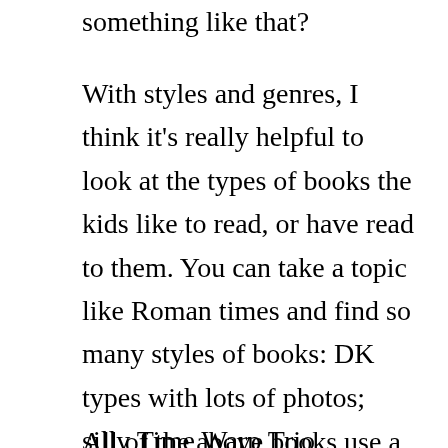something like that?
With styles and genres, I think it's really helpful to look at the types of books the kids like to read, or have read to them. You can take a topic like Roman times and find so many styles of books: DK types with lots of photos; silly Time Warp Trio adventures; Magic Schoolbus books; Horrible Histories; fictional journals with drawings like the Amelia's Notebooks (Galen's notebook); mock Roman Times newspapers; books on specific topics like architecture, science of the time, etc.
All of the above books use a different style